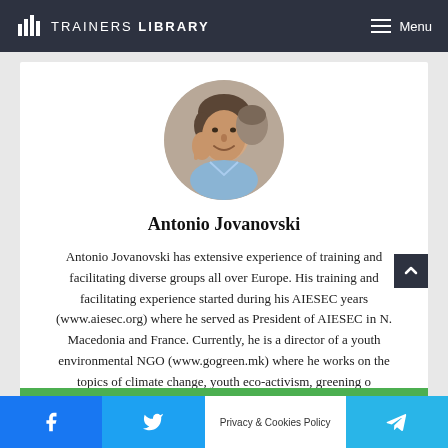TRAINERS LIBRARY — Menu
[Figure (photo): Circular profile photo of Antonio Jovanovski, a man smiling, dark hair, wearing a light blue shirt]
Antonio Jovanovski
Antonio Jovanovski has extensive experience of training and facilitating diverse groups all over Europe. His training and facilitating experience started during his AIESEC years (www.aiesec.org) where he served as President of AIESEC in N. Macedonia and France. Currently, he is a director of a youth environmental NGO (www.gogreen.mk) where he works on the topics of climate change, youth eco-activism, greening o...
Facebook | Twitter | Privacy & Cookies Policy | Telegram